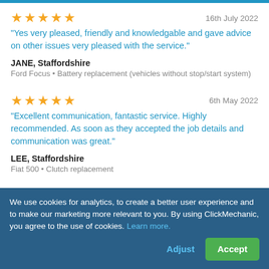★★★★★   16th July 2022
"Yes very pleased, friendly and knowledgable and gave advice on other issues very pleased with the service."
JANE, Staffordshire
Ford Focus • Battery replacement (vehicles without stop/start system)
★★★★★   6th May 2022
"Excellent communication, fantastic service. Highly recommended. As soon as they accepted the job details and communication was great."
LEE, Staffordshire
Fiat 500 • Clutch replacement
We use cookies for analytics, to create a better user experience and to make our marketing more relevant to you. By using ClickMechanic, you agree to the use of cookies. Learn more.